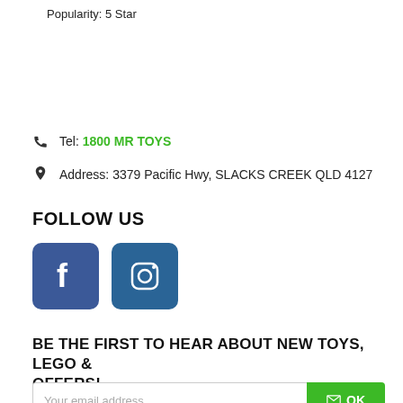Popularity: 5 Star
Tel: 1800 MR TOYS
Address: 3379 Pacific Hwy, SLACKS CREEK QLD 4127
FOLLOW US
[Figure (illustration): Facebook and Instagram social media icon buttons]
BE THE FIRST TO HEAR ABOUT NEW TOYS, LEGO & OFFERS!
Your email address / OK button